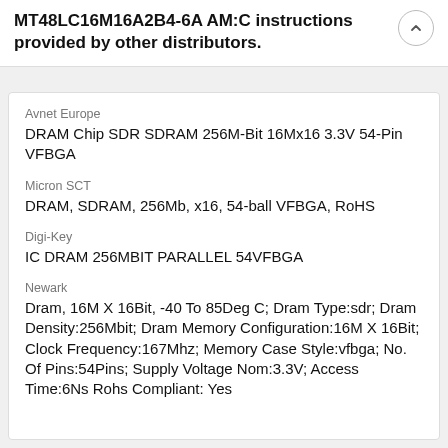MT48LC16M16A2B4-6A AM:C instructions provided by other distributors.
Avnet Europe
DRAM Chip SDR SDRAM 256M-Bit 16Mx16 3.3V 54-Pin VFBGA
Micron SCT
DRAM, SDRAM, 256Mb, x16, 54-ball VFBGA, RoHS
Digi-Key
IC DRAM 256MBIT PARALLEL 54VFBGA
Newark
Dram, 16M X 16Bit, -40 To 85Deg C; Dram Type:sdr; Dram Density:256Mbit; Dram Memory Configuration:16M X 16Bit; Clock Frequency:167Mhz; Memory Case Style:vfbga; No. Of Pins:54Pins; Supply Voltage Nom:3.3V; Access Time:6Ns Rohs Compliant: Yes